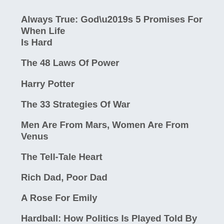Always True: God’s 5 Promises For When Life Is Hard
The 48 Laws Of Power
Harry Potter
The 33 Strategies Of War
Men Are From Mars, Women Are From Venus
The Tell-Tale Heart
Rich Dad, Poor Dad
A Rose For Emily
Hardball: How Politics Is Played Told By One Who Knows The Game
The 4 Hour Workweek